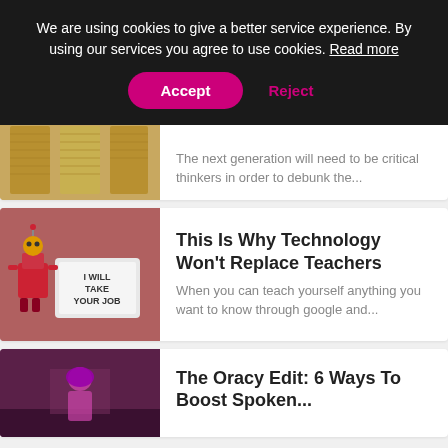We are using cookies to give a better service experience. By using our services you agree to use cookies. Read more
Accept
Reject
[Figure (photo): Partial view of grid/notebook paper on a wall]
The next generation will need to be critical thinkers in order to debunk the...
[Figure (photo): Robot toy in front of a lightbox sign reading 'I WILL TAKE YOUR JOB' on a mauve/pink background]
This Is Why Technology Won't Replace Teachers
When you can teach yourself anything you want to know through google and...
[Figure (photo): Person in purple hijab presenting or speaking, on a dark stage]
The Oracy Edit: 6 Ways To Boost Spoken...